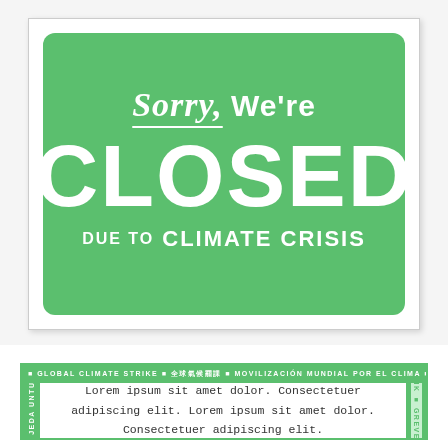[Figure (infographic): A business-style 'Sorry, We're CLOSED' sign on a green background with rounded corners, overlaid on a white card with shadow. Text reads: Sorry, We're CLOSED due to CLIMATE CRISIS]
[Figure (infographic): A bordered frame with green ticker bands on top, left, and right sides displaying multilingual text: GLOBAL CLIMATE STRIKE, 全球氣候罷課, MOVILIZACIÓN MUNDIAL POR EL CLIMA, GLOBALER KLIMAS-, TREIK, GREVE MO, JEDA UNTUK. Inside is lorem ipsum placeholder text.]
Lorem ipsum sit amet dolor. Consectetuer adipiscing elit. Lorem ipsum sit amet dolor. Consectetuer adipiscing elit.